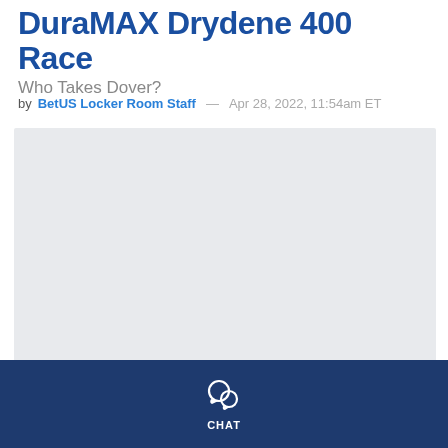DuraMAX Drydene 400 Race
Who Takes Dover?
by BetUS Locker Room Staff — Apr 28, 2022, 11:54am ET
[Figure (photo): Racing event photo placeholder, light gray background]
Sean Gardner/Getty Images/AFP
CHAT